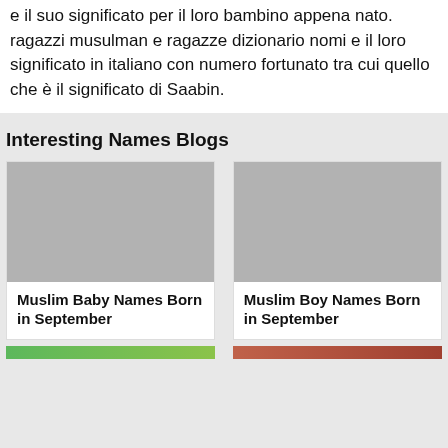e il suo significato per il loro bambino appena nato. ragazzi musulman e ragazze dizionario nomi e il loro significato in italiano con numero fortunato tra cui quello che è il significato di Saabin.
Interesting Names Blogs
[Figure (photo): Gray placeholder image for Muslim Baby Names Born in September blog card]
Muslim Baby Names Born in September
[Figure (photo): Gray placeholder image for Muslim Boy Names Born in September blog card]
Muslim Boy Names Born in September